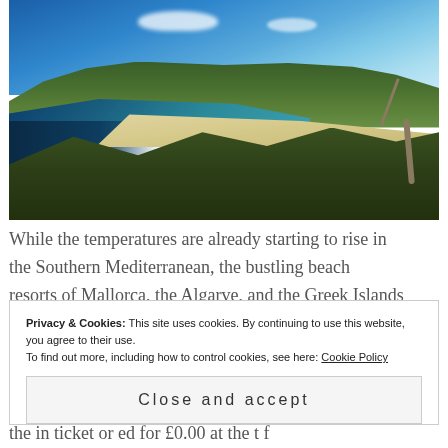[Figure (photo): Coastal landscape photo showing a bay with turquoise water, white sandy beach, green rolling hills, blue sky with clouds, and windswept trees in the foreground]
While the temperatures are already starting to rise in the Southern Mediterranean, the bustling beach resorts of Mallorca, the Algarve, and the Greek Islands
Privacy & Cookies: This site uses cookies. By continuing to use this website, you agree to their use.
To find out more, including how to control cookies, see here: Cookie Policy
Close and accept
the in ticket or ed for £0.00 at the t f